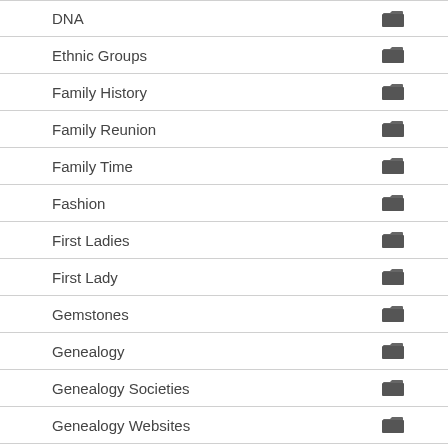DNA
Ethnic Groups
Family History
Family Reunion
Family Time
Fashion
First Ladies
First Lady
Gemstones
Genealogy
Genealogy Societies
Genealogy Websites